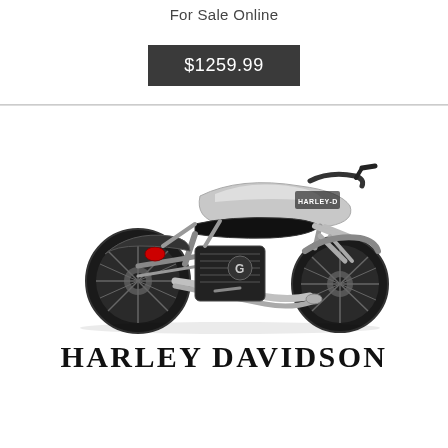For Sale Online
$1259.99
[Figure (photo): Harley Davidson motorcycle, silver and black, shown from rear-left angle, with chrome exhaust pipes and spoke wheels on white background]
HARLEY DAVIDSON